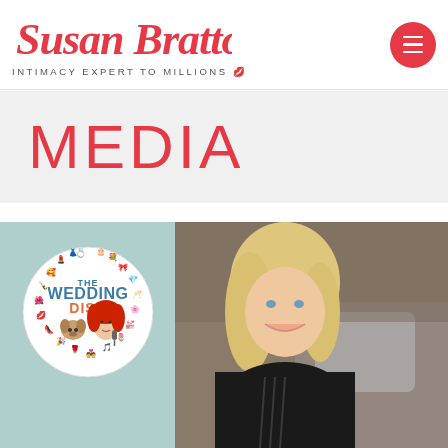Susan Bratton — INTIMACY EXPERT TO MILLIONS
MEDIA
[Figure (logo): The Wedding Dish podcast circular logo with colorful emoji icons around the border, featuring a woman with red hair and a small dog in the center, on a mint green background]
[Figure (photo): Susan Bratton smiling, blonde hair, wearing black outfit, seated on a couch with grey cushion in background]